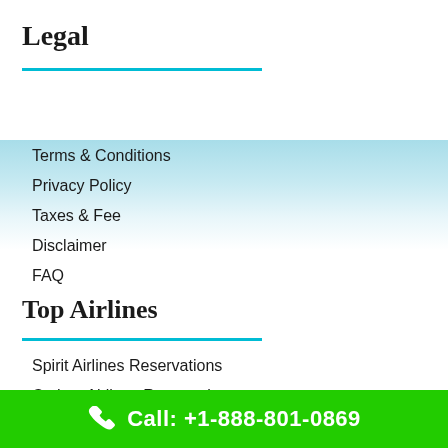Legal
Terms & Conditions
Privacy Policy
Taxes & Fee
Disclaimer
FAQ
Top Airlines
Spirit Airlines Reservations
Cathay Airlines Reservations
Avelo Airlines Reservations
Lufthansa Airlines Reservations
Call: +1-888-801-0869